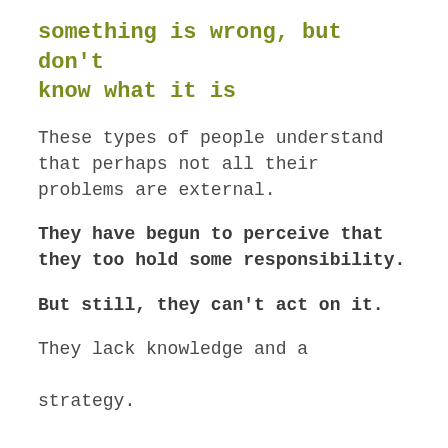something is wrong, but don't know what it is
These types of people understand that perhaps not all their problems are external.
They have begun to perceive that they too hold some responsibility.
But still, they can't act on it.
They lack knowledge and a strategy.